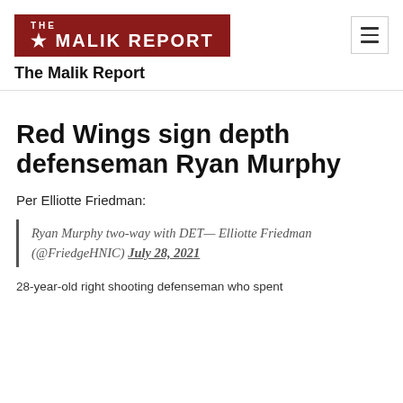[Figure (logo): The Malik Report logo — dark red/crimson background with white bold uppercase text reading 'THE MALIK REPORT' with a star]
The Malik Report
Red Wings sign depth defenseman Ryan Murphy
Per Elliotte Friedman:
Ryan Murphy two-way with DET— Elliotte Friedman (@FriedgeHNIC) July 28, 2021
28-year-old right shooting defenseman who spent